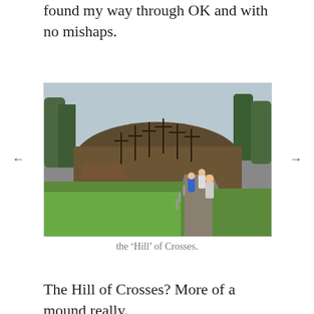found my way through OK and with no mishaps.
[Figure (photo): Outdoor photo showing visitors walking along a paved path toward the Hill of Crosses in Lithuania. Green grass on the left, numerous large crosses and trees in the background, overcast sky.]
the ‘Hill’ of Crosses.
The Hill of Crosses? More of a mound really.